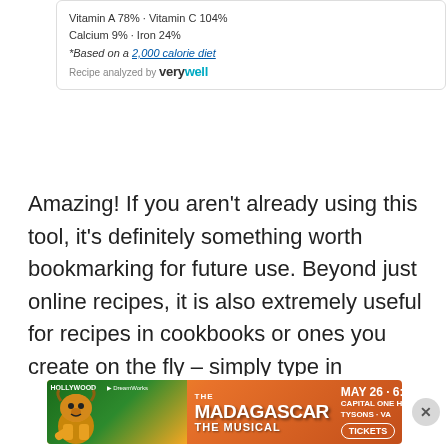[Figure (screenshot): Nutrition facts card snippet showing vitamin and mineral percentages, footnote about 2000 calorie diet, and 'Recipe analyzed by verywell' branding]
Amazing! If you aren't already using this tool, it's definitely something worth bookmarking for future use. Beyond just online recipes, it is also extremely useful for recipes in cookbooks or ones you create on the fly – simply type in everything you added to your meal and it'll automagically create a label for you.
[Figure (screenshot): Advertisement banner for Madagascar The Musical, MAY 26 6:30, Capital One Hall, Tysons VA, with Tickets button]